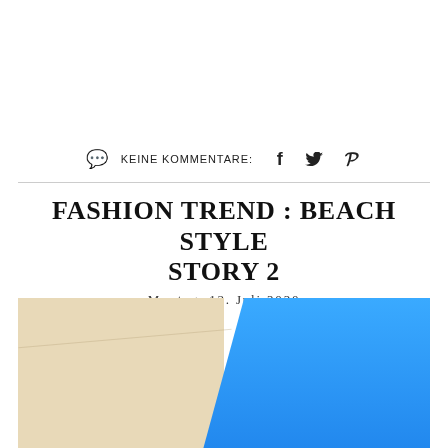KEINE KOMMENTARE:  f  🐦  P
FASHION TREND : BEACH STYLE STORY 2
Montag, 13. Juli 2020
[Figure (photo): Abstract architectural photo showing a beige/cream wall on the left and bright blue sky on the right, divided by a diagonal line.]